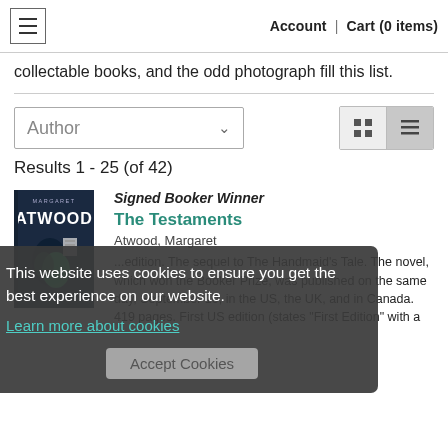Account | Cart (0 items)
collectable books, and the odd photograph fill this list.
Author
Results 1 - 25 (of 42)
Signed Booker Winner
The Testaments
Atwood, Margaret
...edition. The sequel to The Handmaid's Tale. The novel, which won the Booker Prize, was published on the same day, September 10, in the US, the UK, and in Canada. 419 pages. First US edition (states "First Edition" with a
This website uses cookies to ensure you get the best experience on our website.
Learn more about cookies
Accept Cookies